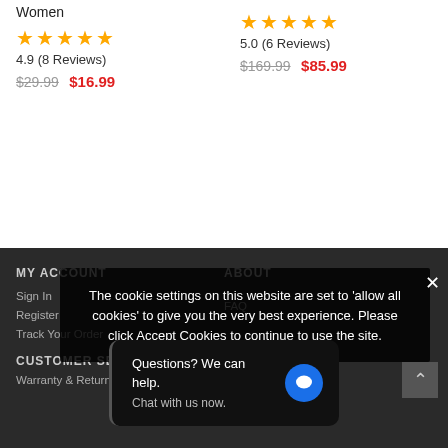Women
★★★★★ 4.9 (8 Reviews) $29.99 $16.99
★★★★★ 5.0 (6 Reviews) $169.99 $85.99
MY ACCOUNT
ABOUT
Sign In
Register
Track Your Order
FAQ
CUSTOMER SERV...
Warranty & Return Policy
The cookie settings on this website are set to 'allow all cookies' to give you the very best experience. Please click Accept Cookies to continue to use the site.
Questions? We can help.
Chat with us now.